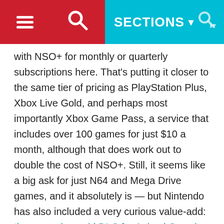SECTIONS
with NSO+ for monthly or quarterly subscriptions here. That's putting it closer to the same tier of pricing as PlayStation Plus, Xbox Live Gold, and perhaps most importantly Xbox Game Pass, a service that includes over 100 games for just $10 a month, although that does work out to double the cost of NSO+. Still, it seems like a big ask for just N64 and Mega Drive games, and it absolutely is — but Nintendo has also included a very curious value-add: the upcoming paid DLC for Animal Crossing New Horizons is included, at no extra cost, for NSO+ subscribers. Normally priced at $37.50 if bought separately, if you upgrade your subscription for one year of NSO+ it would be $7.50 cheaper for that first year to be subscribed rather than buy it separately. But that value only lasts for a year, and after that, if the Animal Crossing DLC is the main or only reason you're subscribed, it would've been a better option to just buy the DLC instead.